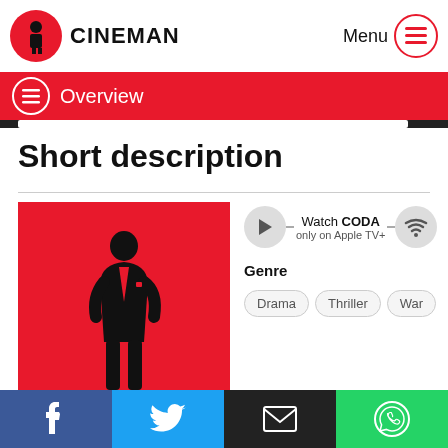CINEMAN
Overview
Short description
[Figure (illustration): Movie poster with red background and black silhouette of a man in a suit]
Watch CODA only on Apple TV+
Genre
Drama  Thriller  War
Facebook  Twitter  Email  WhatsApp